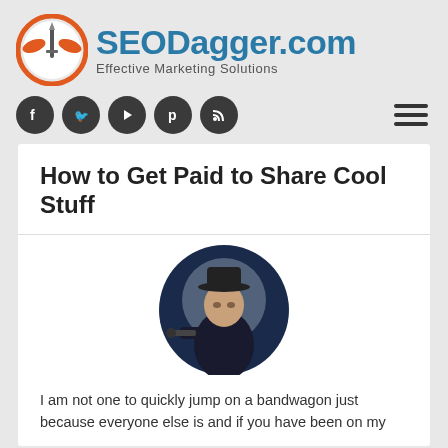[Figure (logo): SEODagger.com logo with a circular orange/red emblem featuring a dagger and phoenix/eagle wings, with 'SEODagger.com' in large blue bold text and 'Effective Marketing Solutions' subtitle]
[Figure (other): Row of five dark gray circular social media icon buttons (Facebook, Twitter, YouTube, Pinterest, RSS) and a hamburger menu icon on the right]
How to Get Paid to Share Cool Stuff
[Figure (illustration): Cartoon illustration of a tough-looking man in a dark hat and coat pointing a gun toward the viewer, set against a circular dark blue background]
I am not one to quickly jump on a bandwagon just because everyone else is and if you have been on my